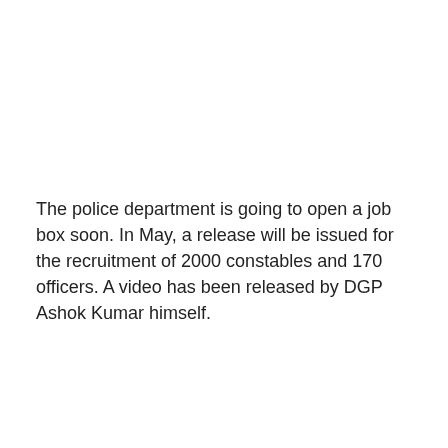The police department is going to open a job box soon. In May, a release will be issued for the recruitment of 2000 constables and 170 officers. A video has been released by DGP Ashok Kumar himself.